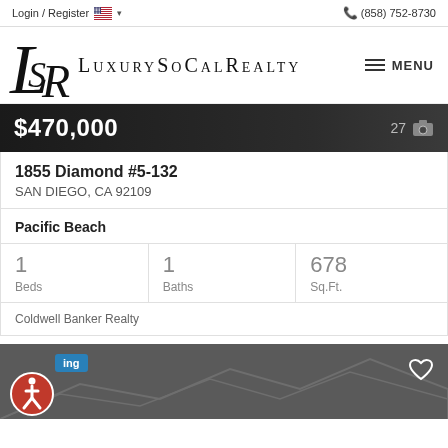Login / Register  (858) 752-8730
[Figure (logo): LuxurySoCalRealty logo with stylized LSR monogram]
$470,000  27 photos
1855 Diamond #5-132
SAN DIEGO, CA 92109
Pacific Beach
| Beds | Baths | Sq.Ft. |
| --- | --- | --- |
| 1 | 1 | 678 |
Coldwell Banker Realty
[Figure (screenshot): Bottom listing card with pending badge, accessibility icon, heart icon, and dark background with mountain silhouette lines]